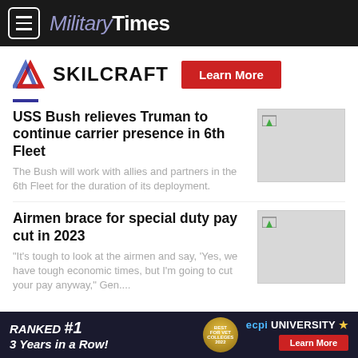Military Times
[Figure (logo): SKILCRAFT logo with red/blue chevron and red Learn More button]
USS Bush relieves Truman to continue carrier presence in 6th Fleet
The Bush will work with allies and partners in the 6th Fleet for the duration of its deployment.
[Figure (photo): Thumbnail image placeholder for USS Bush article]
Airmen brace for special duty pay cut in 2023
“It’s tough to look at the airmen and say, ‘Yes, we have tough economic times, but I’m going to cut your pay anyway,” Gen....
[Figure (photo): Thumbnail image placeholder for Airmen article]
RANKED #1 3 Years in a Row! ECPI UNIVERSITY Learn More